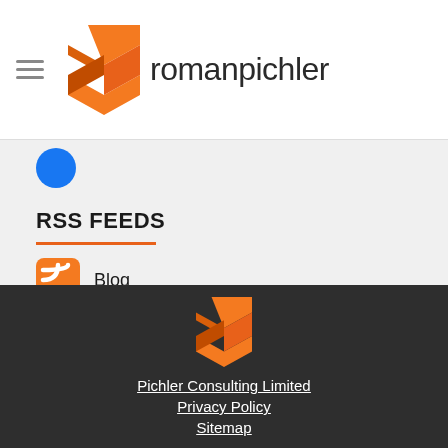romanpichler
RSS FEEDS
Blog
Podcast
Pichler Consulting Limited · Privacy Policy · Sitemap